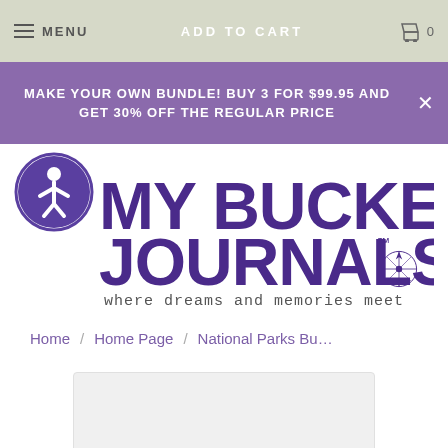MENU | ADD TO CART | 0
MAKE YOUR OWN BUNDLE! BUY 3 FOR $99.95 AND GET 30% OFF THE REGULAR PRICE
[Figure (logo): My Bucket Journals logo with compass rose and tagline 'where dreams and memories meet']
Home / Home Page / National Parks Bu…